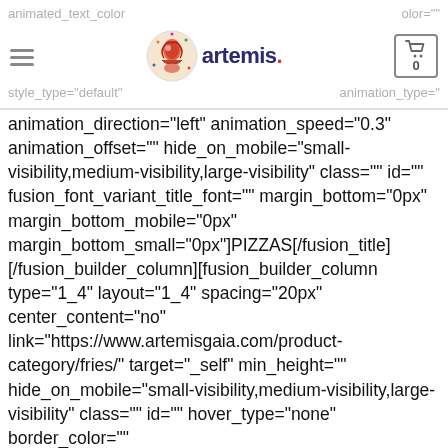animated_text_color   olor=""   style_type="default"   animation_type="   animation_direction="left" animation_speed="0.3"
animation_offset="" hide_on_mobile="small-visibility,medium-visibility,large-visibility" class="" id="" fusion_font_variant_title_font="" margin_bottom="0px" margin_bottom_mobile="0px" margin_bottom_small="0px"]PIZZAS[/fusion_title] [/fusion_builder_column][fusion_builder_column type="1_4" layout="1_4" spacing="20px" center_content="no" link="https://www.artemisgaia.com/product-category/fries/" target="_self" min_height="" hide_on_mobile="small-visibility,medium-visibility,large-visibility" class="" id="" hover_type="none" border_color="" border_style="solid" border_position="all" box_shadow="no" box_shadow_blur="0" box_shadow_color="" box_shadow_style=""